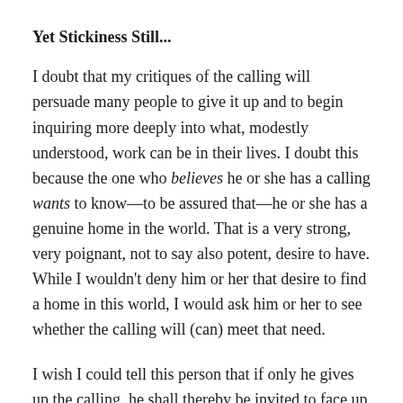Yet Stickiness Still...
I doubt that my critiques of the calling will persuade many people to give it up and to begin inquiring more deeply into what, modestly understood, work can be in their lives. I doubt this because the one who believes he or she has a calling wants to know—to be assured that—he or she has a genuine home in the world. That is a very strong, very poignant, not to say also potent, desire to have. While I wouldn't deny him or her that desire to find a home in this world, I would ask him or her to see whether the calling will (can) meet that need.
I wish I could tell this person that if only he gives up the calling, he shall thereby be invited to face up to questions of ultimate concern. I wish I could tell him, and others, that we're asking too much of work. If he were